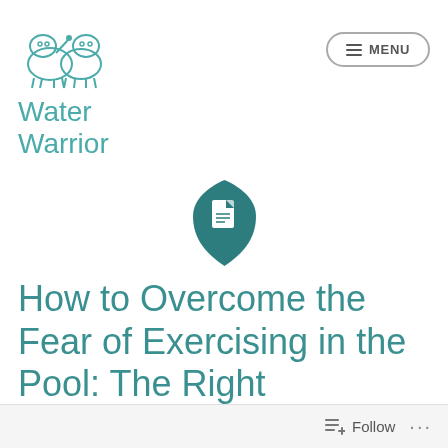[Figure (logo): Water Warrior logo: illustrated hippo characters with blue line art on white background, with 'Water Warrior' text below in teal]
[Figure (logo): DocuSign shield/document icon in dark teal]
How to Overcome the Fear of Exercising in the Pool: The Right Swimming Gear Will
Follow ...